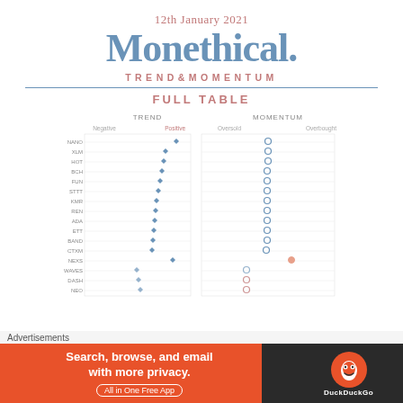12th January 2021
Monethical.
TREND&MOMENTUM
FULL TABLE
[Figure (other): Trend and Momentum dot-plot chart showing cryptocurrency pairs (NANO, XLM, HOT, BCH, FUN, STTT, KMR, REN, ADA, ETT, BAND, CTXM, NEXS, WAVES, DASH, NEO) plotted on two axes: TREND (Negative to Positive) and MOMENTUM (Oversold to Overbought). Most dots cluster near the Positive/center region of Trend, and center of Momentum. NEXS shows a momentum dot shifted toward Overbought. WAVES and DASH show trend dots slightly left of center.]
Advertisements
[Figure (infographic): DuckDuckGo advertisement banner: orange background on left with text 'Search, browse, and email with more privacy. All in One Free App' and DuckDuckGo logo on dark right section.]